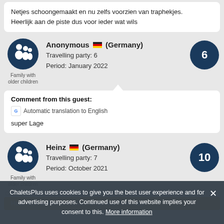Netjes schoongemaakt en nu zelfs voorzien van traphekjes. Heerlijk aan de piste dus voor ieder wat wils
Anonymous (Germany) Travelling party: 6 Period: January 2022 - Score: 6
Comment from this guest: Automatic translation to English super Lage
Heinz (Germany) Travelling party: 7 Period: October 2021 - Score: 10
ChaletsPlus uses cookies to give you the best user experience and for advertising purposes. Continued use of this website implies your consent to this. More information
Haus sehr sauber und schon eingetend. Tolle Lage